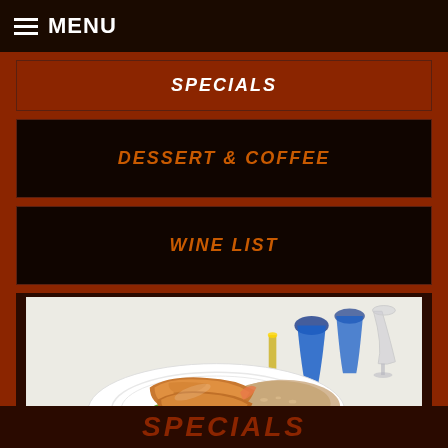MENU
SPECIALS
DESSERT & COFFEE
WINE LIST
[Figure (photo): A restaurant plate with fried fish, rice, lettuce and vegetables on a white plate. Blue wine glasses and candles visible in background on a white tablecloth setting.]
SPECIALS